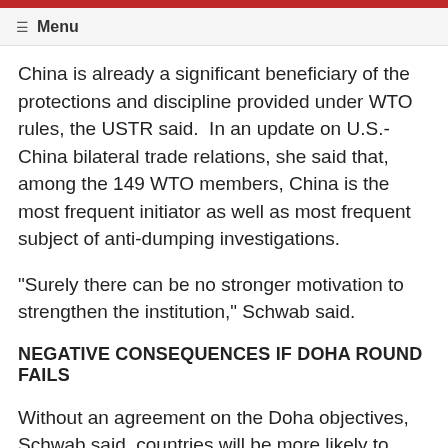Menu
China is already a significant beneficiary of the protections and discipline provided under WTO rules, the USTR said. In an update on U.S.-China bilateral trade relations, she said that, among the 149 WTO members, China is the most frequent initiator as well as most frequent subject of anti-dumping investigations.
"Surely there can be no stronger motivation to strengthen the institution," Schwab said.
NEGATIVE CONSEQUENCES IF DOHA ROUND FAILS
Without an agreement on the Doha objectives, Schwab said, countries will be more likely to resort to punitive measures and litigation in dealing with trade issues.